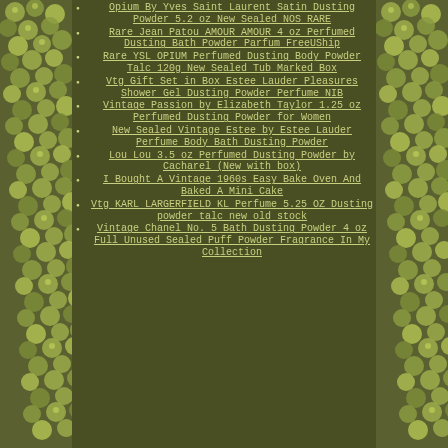Opium By Yves Saint Laurent Satin Dusting Powder 5.2 oz New Sealed NOS RARE
Rare Jean Patou AMOUR AMOUR 4 oz Perfumed Dusting Bath Powder Parfum FreeUShip
Rare YSL OPIUM Perfumed Dusting Body Powder Talc 120g New Sealed Tub Marked Box
Vtg Gift Set in Box Estee Lauder Pleasures Shower Gel Dusting Powder Perfume NIB
Vintage Passion by Elizabeth Taylor 1.25 oz Perfumed Dusting Powder for Women
New Sealed Vintage Estee by Estee Lauder Perfume Body Bath Dusting Powder
Lou Lou 3.5 oz Perfumed Dusting Powder by Cacharel (New with box)
I Bought A Vintage 1960s Easy Bake Oven And Baked A Mini Cake
Vtg KARL LARGERFIELD KL Perfume 5.25 OZ Dusting powder talc new old stock
Vintage Chanel No. 5 Bath Dusting Powder 4 oz Full Unused Sealed Puff Powder Fragrance In My Collection